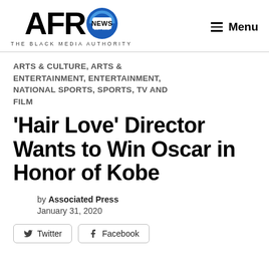AFRO NEWS — THE BLACK MEDIA AUTHORITY | Menu
ARTS & CULTURE, ARTS & ENTERTAINMENT, ENTERTAINMENT, NATIONAL SPORTS, SPORTS, TV AND FILM
'Hair Love' Director Wants to Win Oscar in Honor of Kobe
by Associated Press
January 31, 2020
Twitter  Facebook